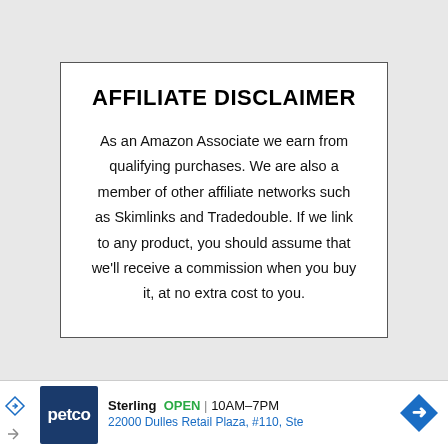AFFILIATE DISCLAIMER
As an Amazon Associate we earn from qualifying purchases. We are also a member of other affiliate networks such as Skimlinks and Tradedouble. If we link to any product, you should assume that we'll receive a commission when you buy it, at no extra cost to you.
[Figure (other): Petco advertisement banner showing store location in Sterling, OPEN 10AM-7PM, 22000 Dulles Retail Plaza, #110, Ste, with Petco logo and navigation arrow]